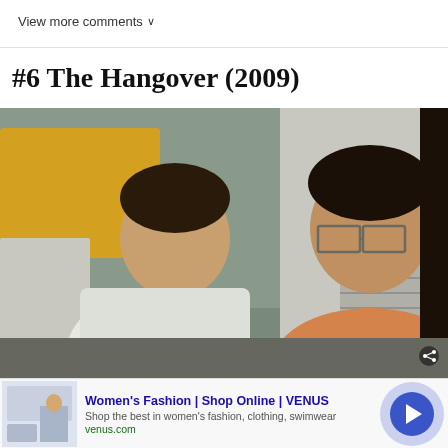View more comments ∨
#6 The Hangover (2009)
[Figure (photo): A still from The Hangover (2009) showing two men — one in a white shirt and one in an orange/tan shirt wearing glasses — appearing to argue or react emotionally outdoors.]
Women's Fashion | Shop Online | VENUS
Shop the best in women's fashion, clothing, swimwear
venus.com